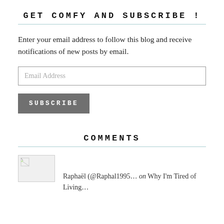GET COMFY AND SUBSCRIBE !
Enter your email address to follow this blog and receive notifications of new posts by email.
Email Address
SUBSCRIBE
COMMENTS
[Figure (photo): Broken image placeholder for commenter avatar]
Raphaël (@Raphal1995… on Why I'm Tired of Living…